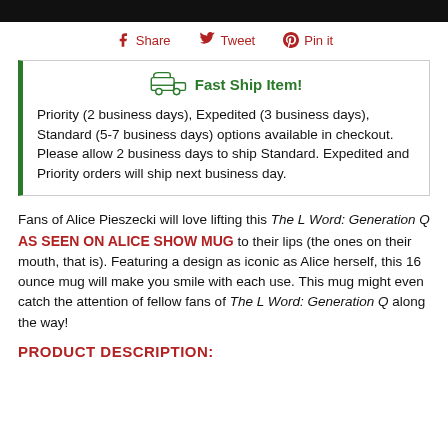Share  Tweet  Pin it
Fast Ship Item! Priority (2 business days), Expedited (3 business days), Standard (5-7 business days) options available in checkout. Please allow 2 business days to ship Standard. Expedited and Priority orders will ship next business day.
Fans of Alice Pieszecki will love lifting this The L Word: Generation Q AS SEEN ON ALICE SHOW MUG to their lips (the ones on their mouth, that is). Featuring a design as iconic as Alice herself, this 16 ounce mug will make you smile with each use. This mug might even catch the attention of fellow fans of The L Word: Generation Q along the way!
PRODUCT DESCRIPTION: